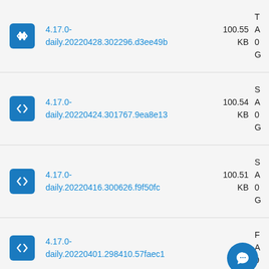4.17.0-daily.20220428.302296.d3ee49b 100.55 KB T A 0 G
4.17.0-daily.20220424.301767.9ea8e13 100.54 KB S A 0 G
4.17.0-daily.20220416.300626.f9f50fc 100.51 KB S A 0 G
4.17.0-daily.20220401.298410.57faec1 KB F A 0